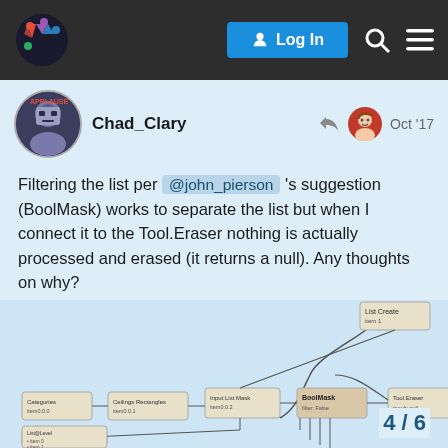Log In [navigation bar with logo, login button, search, and menu icons]
Chad_Clary  Oct '17
Filtering the list per @john_pierson 's suggestion (BoolMask) works to separate the list but when I connect it to the Tool.Eraser nothing is actually processed and erased (it returns a null). Any thoughts on why?

The upside is I figured out List@Level thanks to John & @Kulkul 😀

edit: forgot the updated graph
[Figure (screenshot): A node graph screenshot showing interconnected processing nodes with wires/connections between them, representing a visual programming workflow.]
4 / 6